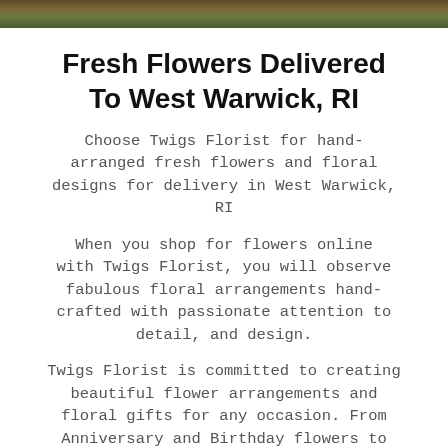[Figure (photo): Partial view of a floral/outdoor photo banner at the top of the page]
Fresh Flowers Delivered To West Warwick, RI
Choose Twigs Florist for hand-arranged fresh flowers and floral designs for delivery in West Warwick, RI
When you shop for flowers online with Twigs Florist, you will observe fabulous floral arrangements hand-crafted with passionate attention to detail, and design.
Twigs Florist is committed to creating beautiful flower arrangements and floral gifts for any occasion. From Anniversary and Birthday flowers to Get Well and Sympathy, Twigs Florist has the best selection of floral